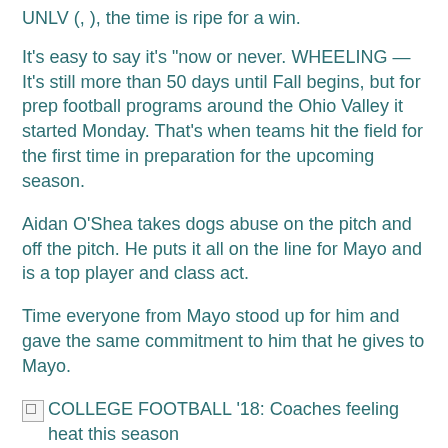UNLV (, ), the time is ripe for a win.
It's easy to say it's “now or never. WHEELING — It's still more than 50 days until Fall begins, but for prep football programs around the Ohio Valley it started Monday. That’s when teams hit the field for the first time in preparation for the upcoming season.
Aidan O’Shea takes dogs abuse on the pitch and off the pitch. He puts it all on the line for Mayo and is a top player and class act.
Time everyone from Mayo stood up for him and gave the same commitment to him that he gives to Mayo.
[Figure (other): Broken image icon followed by link text: COLLEGE FOOTBALL ’18: Coaches feeling heat this season]
tackling Obie – the overstuffed orange mascot for the game.